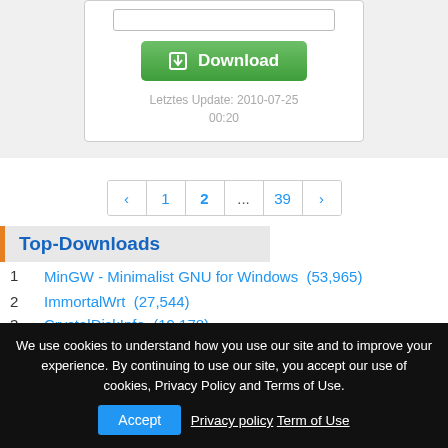[Figure (screenshot): Download button area with input box and green Download button]
Letztes Update: 2010-07-25 00:20
[Figure (infographic): Pagination control with pages: ‹ 1 2 ... 39 ›]
Top-Downloads
1  MinGW - Minimalist GNU for Windows  (53,965)
2  ImmortalWrt  (27,544)
3  CrystalDiskInfo  (19,178)
4  CrystalDiskMark  (10,336)
5
6
7
8
We use cookies to understand how you use our site and to improve your experience. By continuing to use our site, you accept our use of cookies, Privacy Policy and Terms of Use.
Accept  Privacy policy  Term of Use